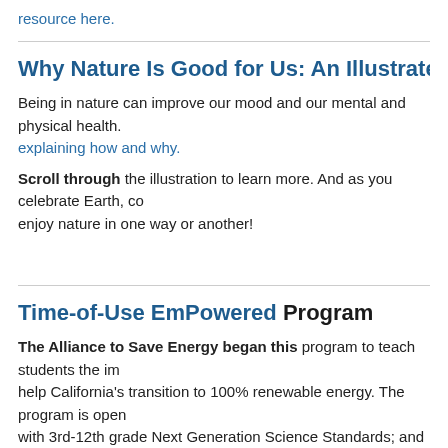resource here.
Why Nature Is Good for Us: An Illustrated & A
Being in nature can improve our mood and our mental and physical health. explaining how and why.
Scroll through the illustration to learn more. And as you celebrate Earth, co enjoy nature in one way or another!
Time-of-Use EmPowered Program
The Alliance to Save Energy began this program to teach students the im help California's transition to 100% renewable energy. The program is open with 3rd-12th grade Next Generation Science Standards; and every particip stipend. Learn more about the program, view the program video, and acces